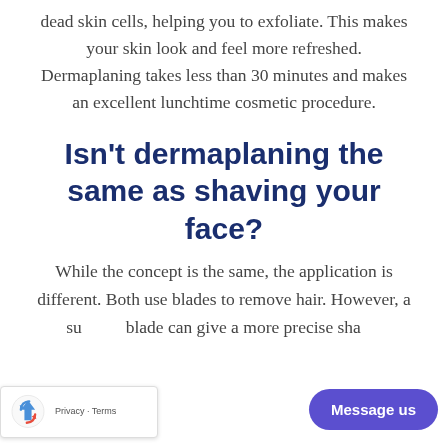dead skin cells, helping you to exfoliate. This makes your skin look and feel more refreshed. Dermaplaning takes less than 30 minutes and makes an excellent lunchtime cosmetic procedure.
Isn't dermaplaning the same as shaving your face?
While the concept is the same, the application is different. Both use blades to remove hair. However, a surgical blade can give a more precise shave.